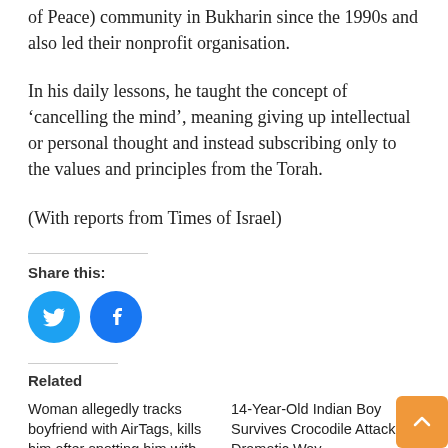of Peace) community in Bukharin since the 1990s and also led their nonprofit organisation.
In his daily lessons, he taught the concept of ‘cancelling the mind’, meaning giving up intellectual or personal thought and instead subscribing only to the values and principles from the Torah.
(With reports from Times of Israel)
Share this:
[Figure (illustration): Twitter and Facebook social share buttons as blue circles with white icons]
Related
Woman allegedly tracks boyfriend with AirTags, kills him after spotting him with
14-Year-Old Indian Boy Survives Crocodile Attack In Dramatic Way